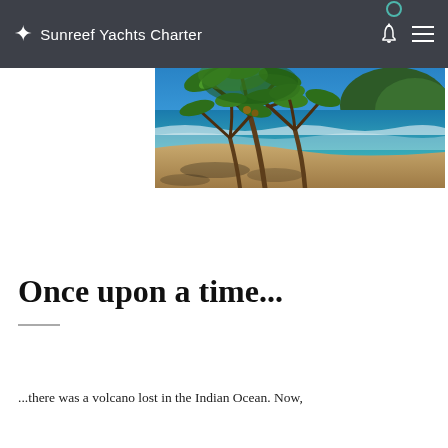✦ Sunreef Yachts Charter
[Figure (photo): Tropical beach scene with tall palm trees leaning over sandy beach, turquoise ocean waves, and a lush green hillside under a vivid blue sky with scattered clouds.]
Once upon a time...
...there was a volcano lost in the Indian Ocean. Now,